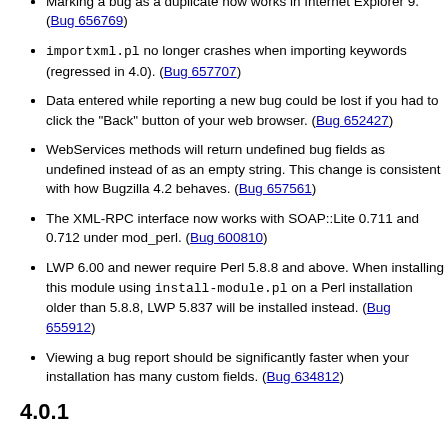committed (regressed in 4.0). (Bug 663208)
Marking a bug as a duplicate now works in Internet Explorer 9. (Bug 656769)
importxml.pl no longer crashes when importing keywords (regressed in 4.0). (Bug 657707)
Data entered while reporting a new bug could be lost if you had to click the "Back" button of your web browser. (Bug 652427)
WebServices methods will return undefined bug fields as undefined instead of as an empty string. This change is consistent with how Bugzilla 4.2 behaves. (Bug 657561)
The XML-RPC interface now works with SOAP::Lite 0.711 and 0.712 under mod_perl. (Bug 600810)
LWP 6.00 and newer require Perl 5.8.8 and above. When installing this module using install-module.pl on a Perl installation older than 5.8.8, LWP 5.837 will be installed instead. (Bug 655912)
Viewing a bug report should be significantly faster when your installation has many custom fields. (Bug 634812)
4.0.1